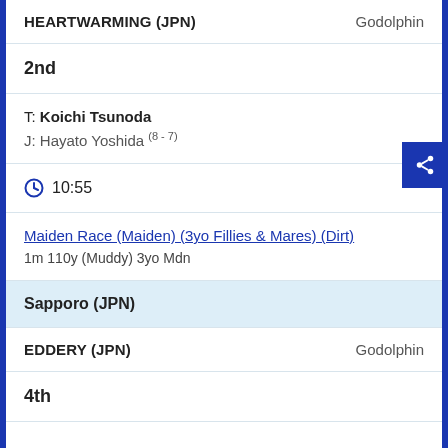HEARTWARMING (JPN)    Godolphin
2nd
T: Koichi Tsunoda
J: Hayato Yoshida (8 - 7)
10:55
Maiden Race (Maiden) (3yo Fillies & Mares) (Dirt)
1m 110y (Muddy) 3yo Mdn
Sapporo (JPN)
EDDERY (JPN)    Godolphin
4th